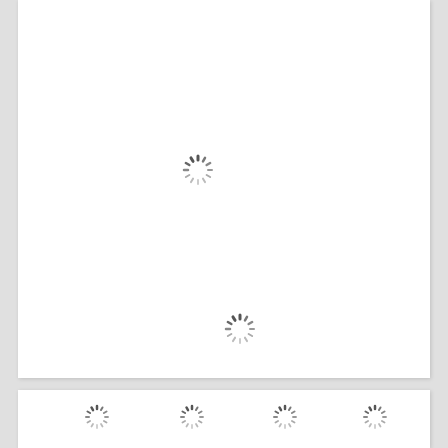[Figure (other): Loading spinner icon (circular dashed loading indicator) in upper-left area of top white card]
[Figure (other): Loading spinner icon (circular dashed loading indicator) in lower-center area of top white card]
[Figure (other): Loading spinner icon (circular dashed loading indicator) in left portion of bottom white card]
[Figure (other): Loading spinner icon (circular dashed loading indicator) in center-left of bottom white card]
[Figure (other): Loading spinner icon (circular dashed loading indicator) in center-right of bottom white card]
[Figure (other): Loading spinner icon (circular dashed loading indicator) in right portion of bottom white card]